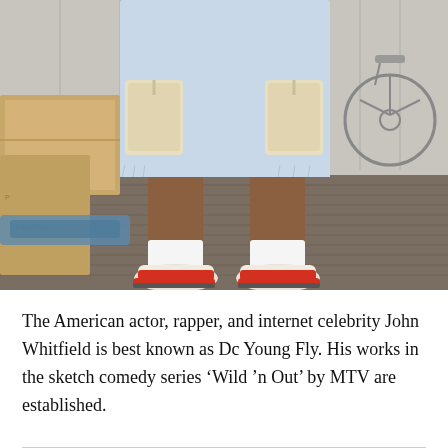[Figure (photo): Lower body of a person wearing distressed light-wash denim cargo shorts with beige pockets, white socks, and red/white sneakers, standing on a textured mat in what appears to be a storage or backstage area with cardboard boxes (including a Yamaha-labeled box) on the left and a bicycle on the right.]
The American actor, rapper, and internet celebrity John Whitfield is best known as Dc Young Fly. His works in the sketch comedy series ‘Wild ’n Out’ by MTV are established.